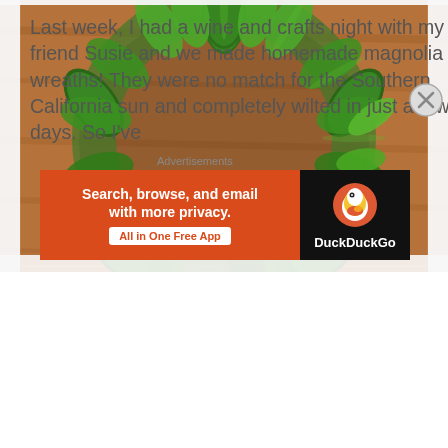[Figure (photo): A green magnolia leaf wreath arranged on a warm wooden surface, viewed from above. The wreath is circular with large, glossy dark green leaves layered around it.]
Last week, I had a wine and crafts night with my friend Susie and we made homemade magnolia wreaths! They were no match for the Southern California sun and completely wilted in just a few days. So I've
Advertisements
[Figure (screenshot): DuckDuckGo advertisement banner. Left side has orange background with white bold text: 'Search, browse, and email with more privacy.' and a white button 'All in One Free App'. Right side has black background with DuckDuckGo duck logo and white text 'DuckDuckGo'.]